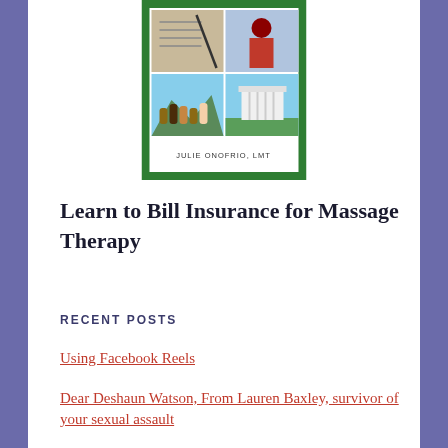[Figure (illustration): Book cover for a massage therapy insurance billing book by Julie Onofrio, LMT. The cover has a green border and displays a grid of four photos: documents/papers, a person in a red outfit, raised fists representing diversity, and the White House. Author name 'JULIE ONOFRIO, LMT' is printed below the photos on a white background within the green frame.]
Learn to Bill Insurance for Massage Therapy
RECENT POSTS
Using Facebook Reels
Dear Deshaun Watson, From Lauren Baxley, survivor of your sexual assault